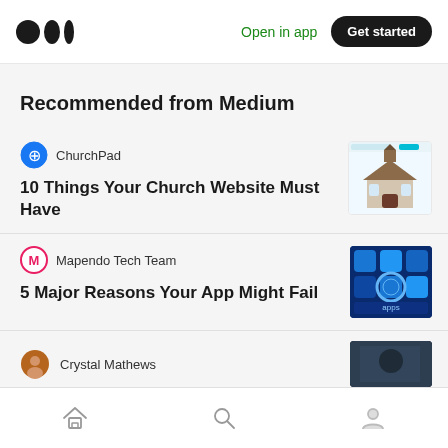Medium logo | Open in app | Get started
Recommended from Medium
ChurchPad — 10 Things Your Church Website Must Have
Mapendo Tech Team — 5 Major Reasons Your App Might Fail
Crystal Mathews
Home | Search | Profile